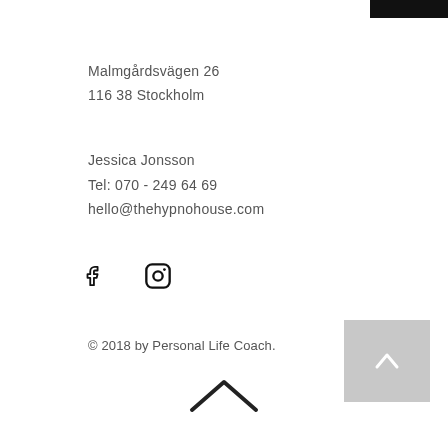[Figure (other): Dark header bar (navigation or logo bar) at top right corner]
Malmgårdsvägen 26
116 38 Stockholm
Jessica Jonsson
Tel: 070 - 249 64 69
hello@thehypnohouse.com
[Figure (other): Facebook and Instagram social media icons]
© 2018 by Personal Life Coach.
[Figure (other): Gray scroll-to-top button with white chevron arrow]
[Figure (other): Dark chevron up arrow at bottom center of page]